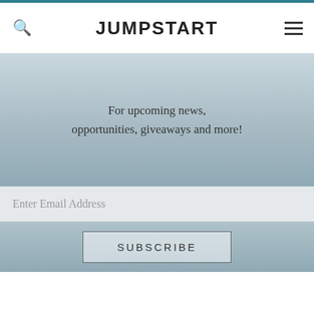JUMPSTART
For upcoming news, opportunities, giveaways and more!
Enter Email Address
SUBSCRIBE
JUMPSTART
[Figure (infographic): Social media icons: Twitter, Instagram, Facebook, LinkedIn, YouTube]
ABOUT US
WORKING WITH US
Careers
Contact Us